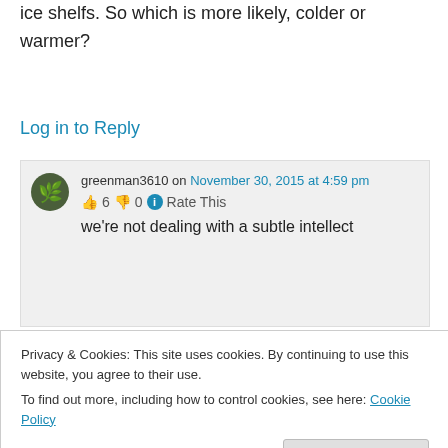ice shelfs. So which is more likely, colder or warmer?
Log in to Reply
greenman3610 on November 30, 2015 at 4:59 pm
👍 6 👎 0 ℹ Rate This
we're not dealing with a subtle intellect
Privacy & Cookies: This site uses cookies. By continuing to use this website, you agree to their use.
To find out more, including how to control cookies, see here: Cookie Policy
Close and accept